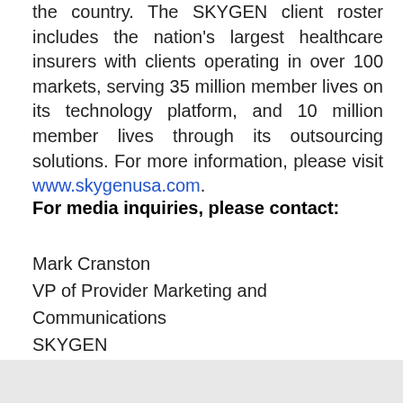the country. The SKYGEN client roster includes the nation's largest healthcare insurers with clients operating in over 100 markets, serving 35 million member lives on its technology platform, and 10 million member lives through its outsourcing solutions. For more information, please visit www.skygenusa.com.
For media inquiries, please contact:
Mark Cranston
VP of Provider Marketing and Communications
SKYGEN
Mark.Cranston@SKYGENUSA.COM